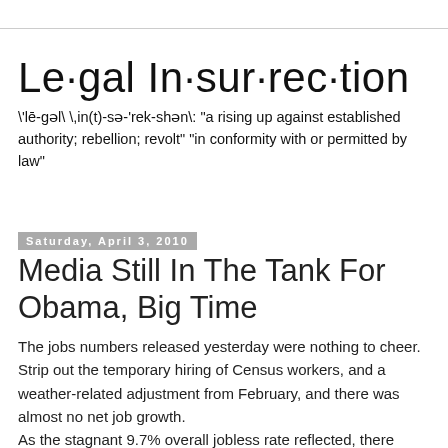Le·gal In·sur·rec·tion
\'lē-gəl\ \,in(t)-sə-'rek-shən\: "a rising up against established authority; rebellion; revolt" "in conformity with or permitted by law"
Saturday, April 3, 2010
Media Still In The Tank For Obama, Big Time
The jobs numbers released yesterday were nothing to cheer. Strip out the temporary hiring of Census workers, and a weather-related adjustment from February, and there was almost no net job growth.
As the stagnant 9.7% overall jobless rate reflected, there